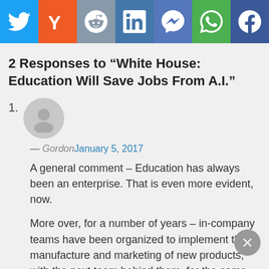[Figure (infographic): Social sharing bar with icons for Twitter, Yahoo, Reddit, LinkedIn, Messenger, WhatsApp, and Facebook]
2 Responses to “White House: Education Will Save Jobs From A.I.”
1. Gordon — January 5, 2017
A general comment – Education has always been an enterprise. That is even more evident, now.
More over, for a number of years – in-company teams have been organized to implement the manufacture and marketing of new products, with the next team behind them, for the same purpose, for the next product.
What many people, students, etc. may not grasp entirely, is that the manufacturing to market effort is